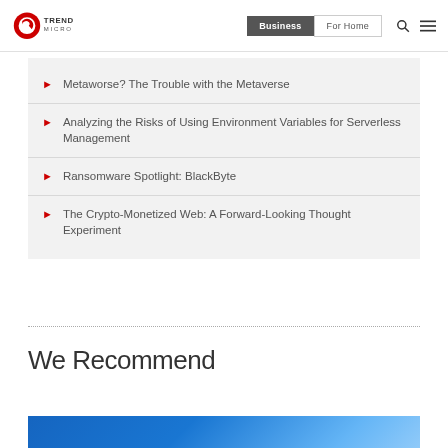Trend Micro | Business | For Home
Metaworse? The Trouble with the Metaverse
Analyzing the Risks of Using Environment Variables for Serverless Management
Ransomware Spotlight: BlackByte
The Crypto-Monetized Web: A Forward-Looking Thought Experiment
We Recommend